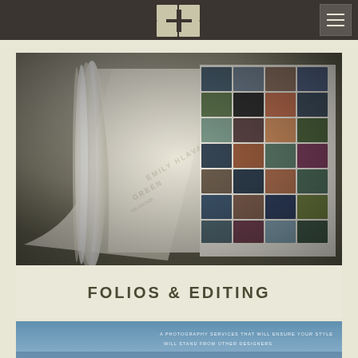Emily Hlavac Green Photography - Navigation header with logo and hamburger menu
[Figure (photo): Close-up photo of an open photography folio/portfolio book. The cover shows embossed text 'EMILY HLAVAC GREEN' with a phone number. The right page shows a grid of small photographs. The book appears to be leather-bound in cream/beige color.]
FOLIOS & EDITING
[Figure (photo): Partial view of another image at the bottom of the page, appearing blue/ocean themed with text lines visible.]